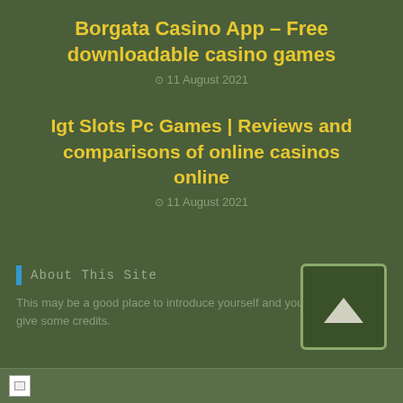Borgata Casino App – Free downloadable casino games
11 August 2021
Igt Slots Pc Games | Reviews and comparisons of online casinos online
11 August 2021
About This Site
This may be a good place to introduce yourself and your site or give some credits.
[Figure (other): Scroll to top button with upward arrow]
[Figure (other): Broken image placeholder at bottom of page]